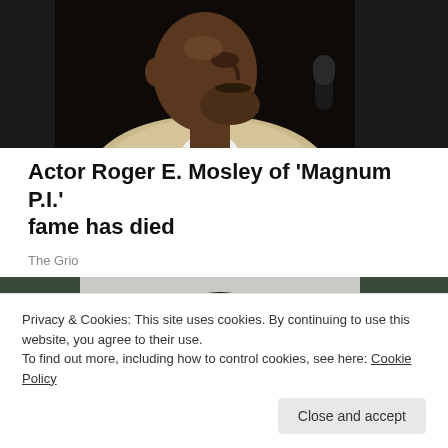[Figure (photo): Close-up profile photo of an older Black man in a light tan/beige blazer against a very dark background, with a microphone partially visible on the right]
Actor Roger E. Mosley of 'Magnum P.I.' fame has died
The Grio
[Figure (photo): Photo of a Black woman with long braids against a blurred outdoor background]
Privacy & Cookies: This site uses cookies. By continuing to use this website, you agree to their use.
To find out more, including how to control cookies, see here: Cookie Policy
Close and accept